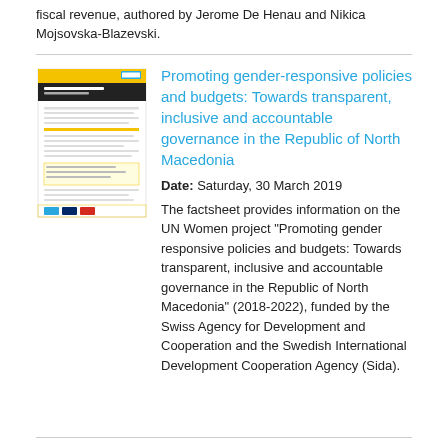fiscal revenue, authored by Jerome De Henau and Nikica Mojsovska-Blazevski.
[Figure (illustration): Thumbnail image of a factsheet document with yellow header and UN Women branding]
Promoting gender-responsive policies and budgets: Towards transparent, inclusive and accountable governance in the Republic of North Macedonia
Date: Saturday, 30 March 2019
The factsheet provides information on the UN Women project "Promoting gender responsive policies and budgets: Towards transparent, inclusive and accountable governance in the Republic of North Macedonia" (2018-2022), funded by the Swiss Agency for Development and Cooperation and the Swedish International Development Cooperation Agency (Sida).